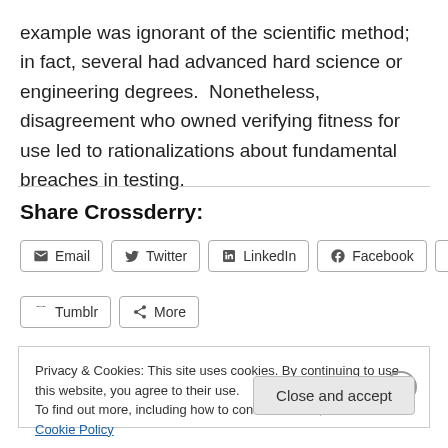example was ignorant of the scientific method; in fact, several had advanced hard science or engineering degrees.  Nonetheless, disagreement who owned verifying fitness for use led to rationalizations about fundamental breaches in testing.
Share Crossderry:
Email | Twitter | LinkedIn | Facebook | Reddit | Tumblr | More
Privacy & Cookies: This site uses cookies. By continuing to use this website, you agree to their use. To find out more, including how to control cookies, see here: Cookie Policy